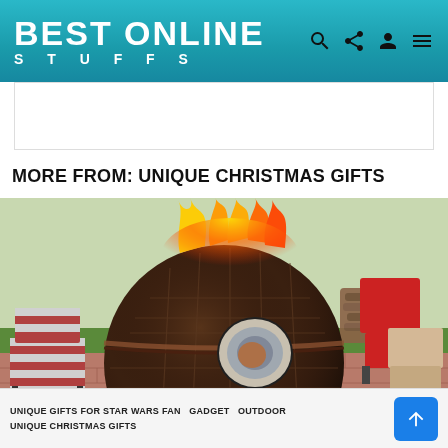BEST ONLINE STUFFS
[Figure (photo): Death Star fire pit burning on a patio, surrounded by lawn chairs and firewood]
MORE FROM: UNIQUE CHRISTMAS GIFTS
UNIQUE GIFTS FOR STAR WARS FAN  GADGET  OUTDOOR  UNIQUE CHRISTMAS GIFTS